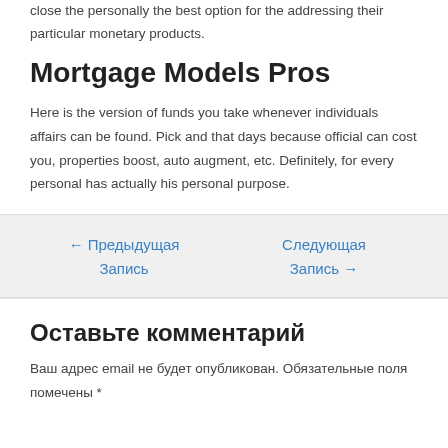close the personally the best option for the addressing their particular monetary products.
Mortgage Models Pros
Here is the version of funds you take whenever individuals affairs can be found. Pick and that days because official can cost you, properties boost, auto augment, etc. Definitely, for every personal has actually his personal purpose.
← Предыдущая Запись
Следующая Запись →
Оставьте комментарий
Ваш адрес email не будет опубликован. Обязательные поля помечены *